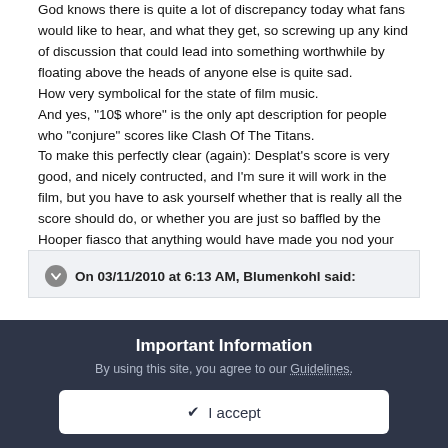God knows there is quite a lot of discrepancy today what fans would like to hear, and what they get, so screwing up any kind of discussion that could lead into something worthwhile by floating above the heads of anyone else is quite sad.
How very symbolical for the state of film music.
And yes, "10$ whore" is the only apt description for people who "conjure" scores like Clash Of The Titans.
To make this perfectly clear (again): Desplat's score is very good, and nicely contructed, and I'm sure it will work in the film, but you have to ask yourself whether that is really all the score should do, or whether you are just so baffled by the Hooper fiasco that anything would have made you nod your head in appreciation. DH is very enjoyable, but it is not any more memorable than the Golden Compass or Half-Blood Prince, nor will it ever be.
On 03/11/2010 at 6:13 AM, Blumenkohl said:
Important Information
By using this site, you agree to our Guidelines.
I accept